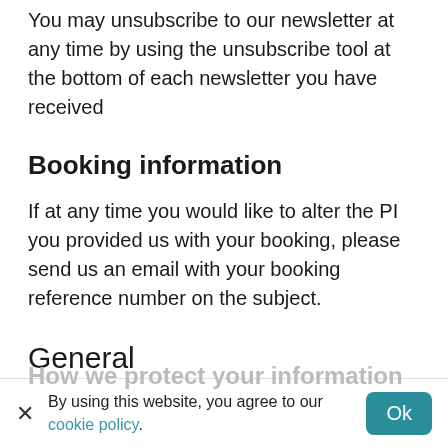You may unsubscribe to our newsletter at any time by using the unsubscribe tool at the bottom of each newsletter you have received
Booking information
If at any time you would like to alter the PI you provided us with your booking, please send us an email with your booking reference number on the subject.
General
If at any time you want to enquire about any of your PI to us, please email us...
How we protect your information
By using this website, you agree to our cookie policy.